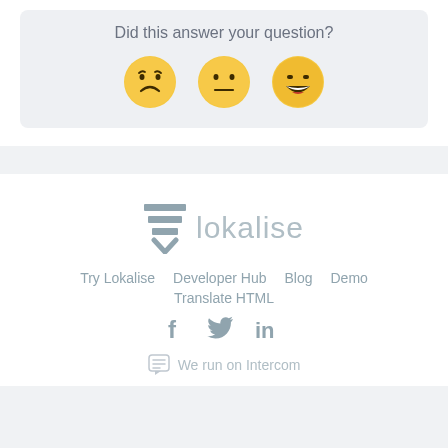Did this answer your question?
[Figure (illustration): Three emoji faces: frowning, neutral, and grinning (feedback rating buttons)]
[Figure (logo): Lokalise logo with stacked lines icon and 'lokalise' text in light gray]
Try Lokalise   Developer Hub   Blog   Demo   Translate HTML
[Figure (illustration): Social media icons: Facebook (f), Twitter (bird), LinkedIn (in)]
We run on Intercom